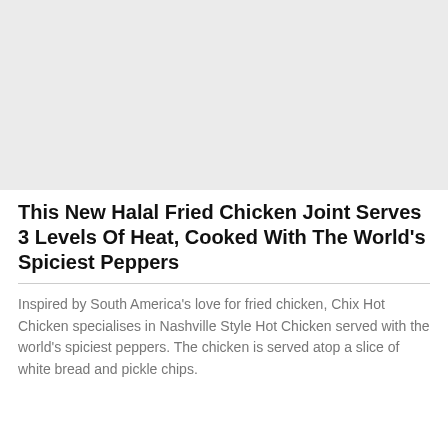[Figure (photo): Large placeholder image area with light gray background, representing a food photograph]
This New Halal Fried Chicken Joint Serves 3 Levels Of Heat, Cooked With The World's Spiciest Peppers
Inspired by South America's love for fried chicken, Chix Hot Chicken specialises in Nashville Style Hot Chicken served with the world's spiciest peppers. The chicken is served atop a slice of white bread and pickle chips.